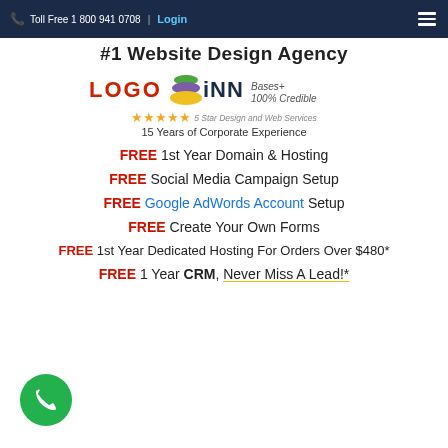Toll Free 1 800 941 0708 | Login
#1 Website Design Agency
[Figure (logo): LOGOiNN logo with colorful stacked circles/ellipses between LOGO and iNN text, tagline: Bases+ 100% Credible]
5 Star Design and Web Services
15 Years of Corporate Experience
FREE 1st Year Domain & Hosting
FREE Social Media Campaign Setup
FREE Google AdWords Account Setup
FREE Create Your Own Forms
FREE 1st Year Dedicated Hosting For Orders Over $480*
FREE 1 Year CRM, Never Miss A Lead!*
[Figure (illustration): Green circle phone button in bottom left corner]